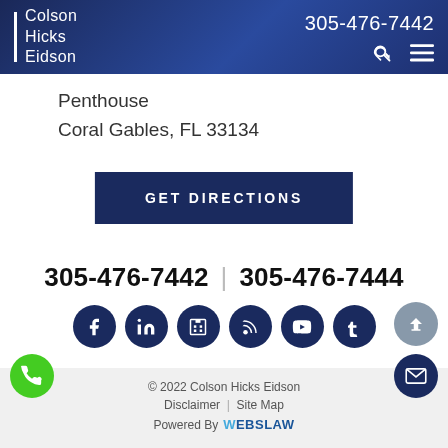Colson Hicks Eidson | 305-476-7442
Penthouse
Coral Gables, FL 33134
GET DIRECTIONS
305-476-7442 | 305-476-7444
[Figure (infographic): Six social media icons: Facebook, LinkedIn, building/directory, RSS, YouTube, Tumblr — dark navy circles with white icons]
© 2022 Colson Hicks Eidson
Disclaimer | Site Map
Powered By WEBSLAW